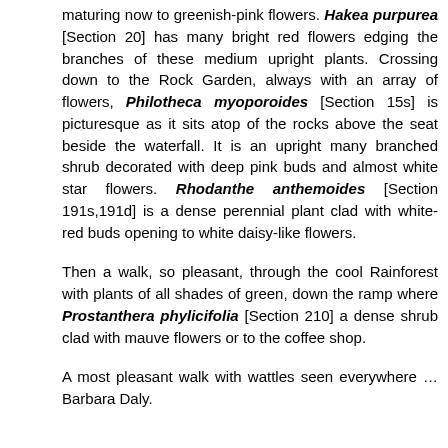maturing now to greenish-pink flowers. Hakea purpurea [Section 20] has many bright red flowers edging the branches of these medium upright plants. Crossing down to the Rock Garden, always with an array of flowers, Philotheca myoporoides [Section 15s] is picturesque as it sits atop of the rocks above the seat beside the waterfall. It is an upright many branched shrub decorated with deep pink buds and almost white star flowers. Rhodanthe anthemoides [Section 191s,191d] is a dense perennial plant clad with white-red buds opening to white daisy-like flowers.
Then a walk, so pleasant, through the cool Rainforest with plants of all shades of green, down the ramp where Prostanthera phylicifolia [Section 210] a dense shrub clad with mauve flowers or to the coffee shop.
A most pleasant walk with wattles seen everywhere … Barbara Daly.